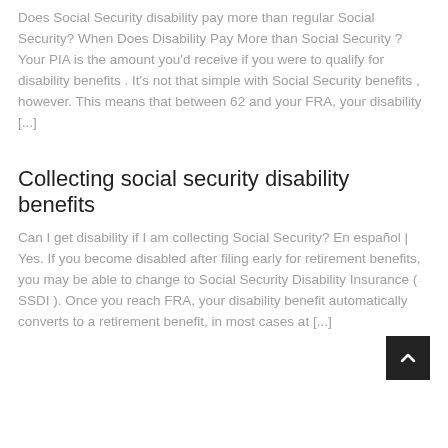Does Social Security disability pay more than regular Social Security? When Does Disability Pay More than Social Security ? Your PIA is the amount you'd receive if you were to qualify for disability benefits . It's not that simple with Social Security benefits , however. This means that between 62 and your FRA, your disability [...]
Collecting social security disability benefits
Can I get disability if I am collecting Social Security? En español | Yes. If you become disabled after filing early for retirement benefits, you may be able to change to Social Security Disability Insurance ( SSDI ). Once you reach FRA, your disability benefit automatically converts to a retirement benefit, in most cases at [...]